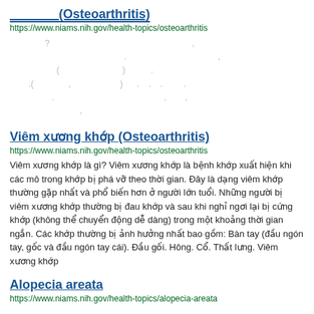_______(Osteoarthritis)
https://www.niams.nih.gov/health-topics/osteoarthritis
? ,
, 
( ) .
.( , ) . . . .
. , ,
,
Viêm xương khớp (Osteoarthritis)
https://www.niams.nih.gov/health-topics/osteoarthritis
Viêm xương khớp là gì? Viêm xương khớp là bệnh khớp xuất hiện khi các mô trong khớp bị phá vỡ theo thời gian. Đây là dạng viêm khớp thường gặp nhất và phổ biến hơn ở người lớn tuổi. Những người bị viêm xương khớp thường bị đau khớp và sau khi nghỉ ngơi lại bị cứng khớp (không thể chuyển động dễ dàng) trong một khoảng thời gian ngắn. Các khớp thường bị ảnh hưởng nhất bao gồm: Bàn tay (đầu ngón tay, gốc và đầu ngón tay cái). Đầu gối. Hông. Cổ. Thất lưng. Viêm xương khớp
Alopecia areata
https://www.niams.nih.gov/health-topics/alopecia-areata